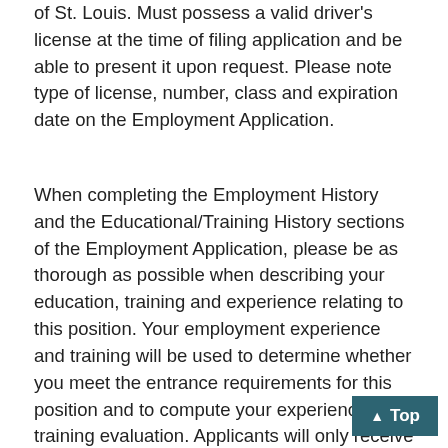of St. Louis. Must possess a valid driver's license at the time of filing application and be able to present it upon request. Please note type of license, number, class and expiration date on the Employment Application.
When completing the Employment History and the Educational/Training History sections of the Employment Application, please be as thorough as possible when describing your education, training and experience relating to this position. Your employment experience and training will be used to determine whether you meet the entrance requirements for this position and to compute your experience and training evaluation. Applicants will only receive credit for their experience, education and training as shown on the application. Re